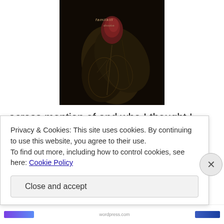[Figure (photo): Album cover art showing dark floral/botanical imagery on a dark background with text overlay reading what appears to be a band/album name]
across mention of and who I thought I might like. So I bought the album. And yes, I do like them. Very much. They're a sort of mix between Opeth and Northern Oak, but also not much like either. There are long sustained death metal parts, interspersed with folky acoustic guitar, and it all hangs together exceedingly well.
Privacy & Cookies: This site uses cookies. By continuing to use this website, you agree to their use.
To find out more, including how to control cookies, see here: Cookie Policy